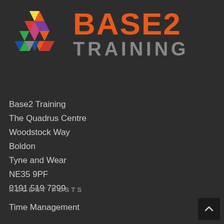[Figure (logo): Base2 Training logo with colorful triangle mosaic icon and orange BASE2 text with grey TRAINING text]
Base2 Training
The Quadrus Centre
Woodstock Way
Boldon
Tyne and Wear
NE35 9PF
0191 519 7299
RECENT POSTS
Time Management